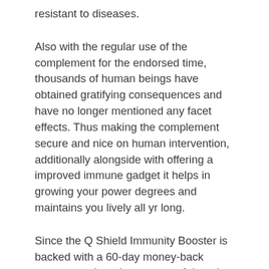resistant to diseases.
Also with the regular use of the complement for the endorsed time, thousands of human beings have obtained gratifying consequences and have no longer mentioned any facet effects. Thus making the complement secure and nice on human intervention, additionally alongside with offering a improved immune gadget it helps in growing your power degrees and maintains you lively all yr long.
Since the Q Shield Immunity Booster is backed with a 60-day money-back guarantee, there is no worry of dropping your cash over the complement if it hasn't created any alternate for you, for this reason making it a protected to make investments supplement. By all these, we can conclude the Q Shield Immunity Booster review, it's a helpful and wonderful immunity booster supplement